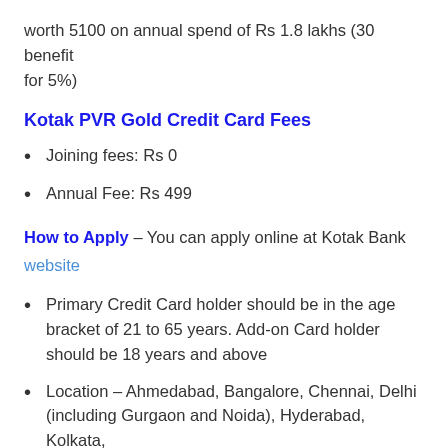worth 5100 on annual spend of Rs 1.8 lakhs (30 benefit for 5%)
Kotak PVR Gold Credit Card Fees
Joining fees: Rs 0
Annual Fee: Rs 499
How to Apply – You can apply online at Kotak Bank website
Primary Credit Card holder should be in the age bracket of 21 to 65 years. Add-on Card holder should be 18 years and above
Location – Ahmedabad, Bangalore, Chennai, Delhi (including Gurgaon and Noida), Hyderabad, Kolkata, Mumbai, Navi Mumbai and Pune